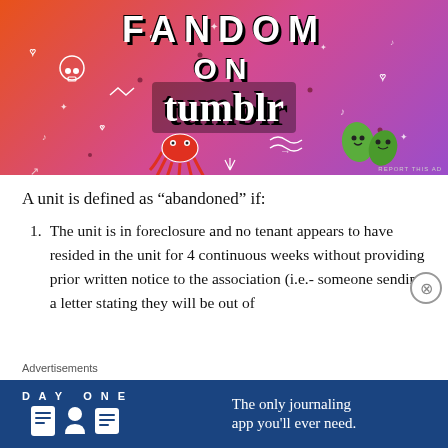[Figure (illustration): Fandom on Tumblr advertisement banner with colorful gradient background (orange to purple) featuring doodles of skull, octopus, leaves, hearts, arrows, musical notes, and other decorative elements. Text reads FANDOM ON tumblr. Small 'REPORT THIS AD' text in bottom right.]
A unit is defined as “abandoned” if:
The unit is in foreclosure and no tenant appears to have resided in the unit for 4 continuous weeks without providing prior written notice to the association (i.e.- someone sending a letter stating they will be out of
Advertisements
[Figure (illustration): Day One journaling app advertisement. Dark blue background with DAY ONE text and icons of a journal, person, and document. Tagline: The only journaling app you'll ever need.]